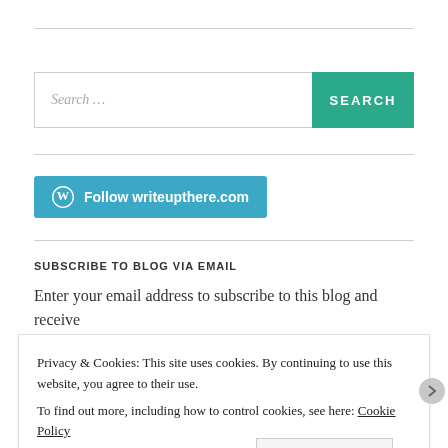Search ...
SEARCH
[Figure (screenshot): Follow writeupthere.com button with WordPress logo]
SUBSCRIBE TO BLOG VIA EMAIL
Enter your email address to subscribe to this blog and receive
Privacy & Cookies: This site uses cookies. By continuing to use this website, you agree to their use.
To find out more, including how to control cookies, see here: Cookie Policy
Close and accept